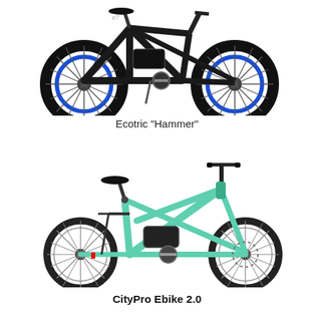[Figure (photo): Ecotric Hammer fat-tire electric bike with black frame and blue-rimmed wheels, shown from the side against a white background.]
Ecotric "Hammer"
[Figure (photo): CityPro Ebike 2.0 step-through electric city bike with mint/teal green frame, shown from the side against a white background.]
CityPro Ebike 2.0